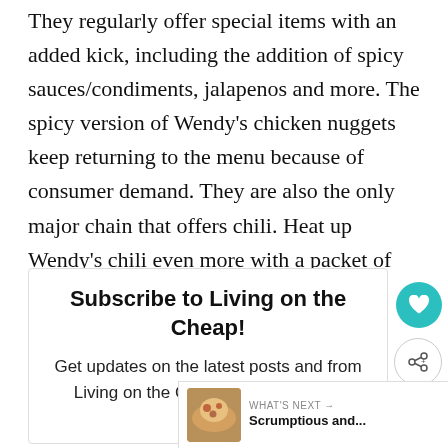They regularly offer special items with an added kick, including the addition of spicy sauces/condiments, jalapenos and more. The spicy version of Wendy's chicken nuggets keep returning to the menu because of consumer demand. They are also the only major chain that offers chili. Heat up Wendy's chili even more with a packet of signature hot sauce.
Subscribe to Living on the Cheap!
Get updates on the latest posts and from Living on the Cheap straight to your inbox.